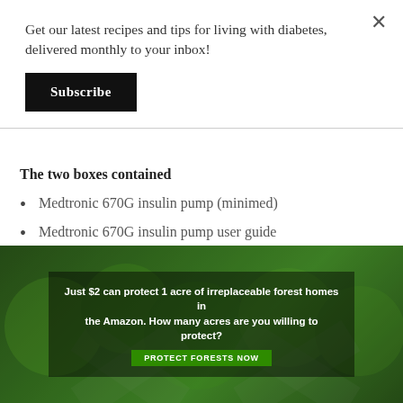Get our latest recipes and tips for living with diabetes, delivered monthly to your inbox!
Subscribe
The two boxes contained
Medtronic 670G insulin pump (minimed)
Medtronic 670G insulin pump user guide
Medtronic 670G insulin pump performance data manual
[Figure (photo): Advertisement banner with forest/Amazon rainforest background. Text reads: 'Just $2 can protect 1 acre of irreplaceable forest homes in the Amazon. How many acres are you willing to protect?' with a green 'PROTECT FORESTS NOW' button.]